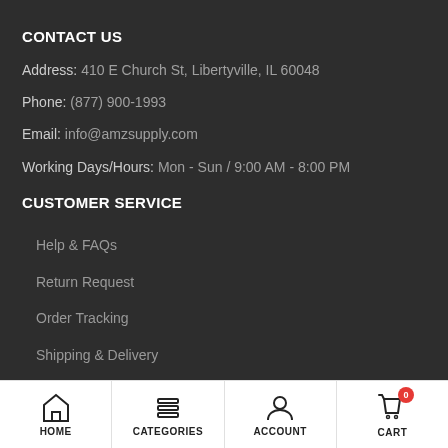CONTACT US
Address: 410 E Church St, Libertyville, IL 60048
Phone: (877) 900-1993
Email: info@amzsupply.com
Working Days/Hours: Mon - Sun / 9:00 AM - 8:00 PM
CUSTOMER SERVICE
Help & FAQs
Return Request
Order Tracking
Shipping & Delivery
Orders History
Search
My Account
HOME | CATEGORIES | ACCOUNT | CART